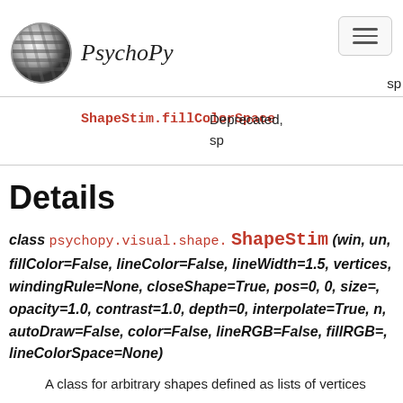PsychoPy
|  |  |
| --- | --- |
| ShapeStim.fillColorSpace | Deprecated, sp... |
Details
class psychopy.visual.shape. ShapeStim (win, un, fillColor=False, lineColor=False, lineWidth=1.5, vertices, windingRule=None, closeShape=True, pos=0, 0, size=, opacity=1.0, contrast=1.0, depth=0, interpolate=True, n, autoDraw=False, color=False, lineRGB=False, fillRGB=, lineColorSpace=None)
A class for arbitrary shapes defined as lists of vertices
Shapes can be lines, polygons (concave, convex, self regions.